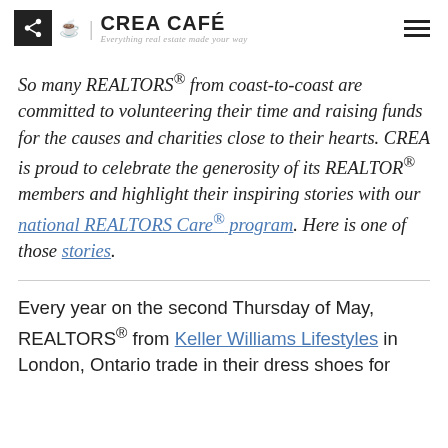CREA CAFÉ — Everything real estate made your way
So many REALTORS® from coast-to-coast are committed to volunteering their time and raising funds for the causes and charities close to their hearts. CREA is proud to celebrate the generosity of its REALTOR® members and highlight their inspiring stories with our national REALTORS Care® program. Here is one of those stories.
Every year on the second Thursday of May, REALTORS® from Keller Williams Lifestyles in London, Ontario trade in their dress shoes for